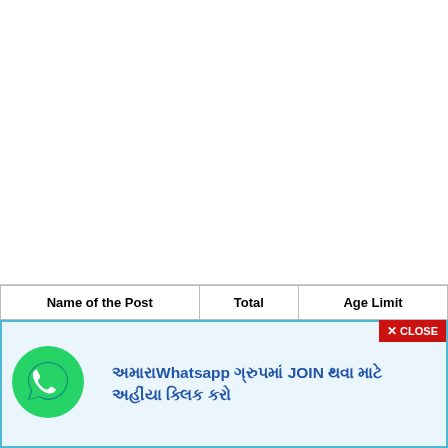| Name of the Post | Total | Age Limit |
| --- | --- | --- |
[Figure (logo): WhatsApp green logo icon]
અમારા Whatsapp ગ્રુપમાં JOIN થવા માટે અહીંયા ક્લિક કરો